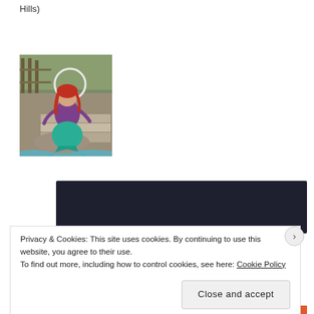Hills)
[Figure (photo): Person dressed as a mermaid costume with red hair, teal tail, sitting on rocks outdoors near a fence, holding a hoop]
[Figure (screenshot): Dark navy banner with a teal rounded 'Learn More' button]
Privacy & Cookies: This site uses cookies. By continuing to use this website, you agree to their use.
To find out more, including how to control cookies, see here: Cookie Policy
Close and accept